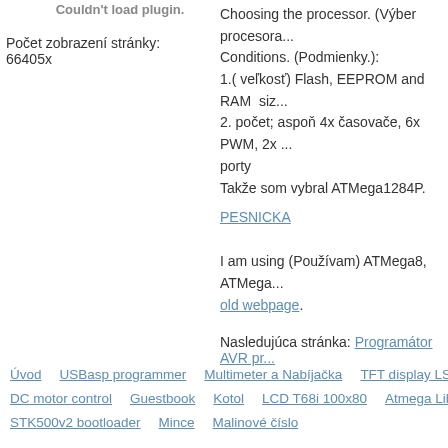Couldn't load plugin.
Počet zobrazení stránky:
66405x
Choosing the processor. (Výber procesora...)
Conditions. (Podmienky.):
1.( veľkosť) Flash, EEPROM and RAM siz...
2. počet; aspoň 4x časovače, 6x PWM, 2x ... porty
Takže som vybral ATMega1284P.
PESNICKA
I am using (Používam) ATMega8, ATMega... old webpage.
Nasledujúca stránka: Programátor AVR pr...
Úvod
USBasp programmer
Multimeter a Nabíjačka
TFT display LS020...
DC motor control
Guestbook
Kotol
LCD T68i 100x80
Atmega Librar...
STK500v2 bootloader
Mince
Malinové číslo